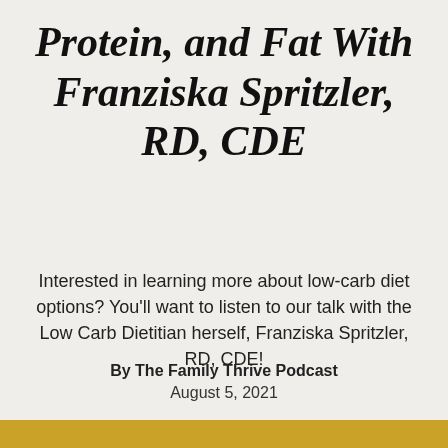Protein, and Fat With Franziska Spritzler, RD, CDE
Interested in learning more about low-carb diet options? You'll want to listen to our talk with the Low Carb Dietitian herself, Franziska Spritzler, RD, CDE!
By The Family Thrive Podcast
August 5, 2021